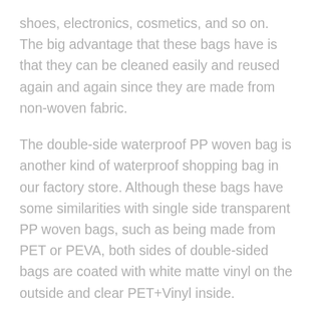shoes, electronics, cosmetics, and so on. The big advantage that these bags have is that they can be cleaned easily and reused again and again since they are made from non-woven fabric.
The double-side waterproof PP woven bag is another kind of waterproof shopping bag in our factory store. Although these bags have some similarities with single side transparent PP woven bags, such as being made from PET or PEVA, both sides of double-sided bags are coated with white matte vinyl on the outside and clear PET+Vinyl inside.